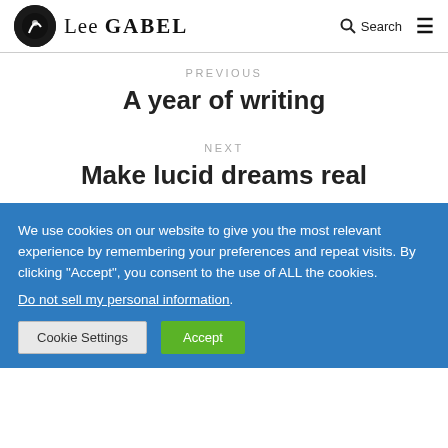Lee Gabel
PREVIOUS
A year of writing
NEXT
Make lucid dreams real
We use cookies on our website to give you the most relevant experience by remembering your preferences and repeat visits. By clicking "Accept", you consent to the use of ALL the cookies.
Do not sell my personal information.
Cookie Settings | Accept